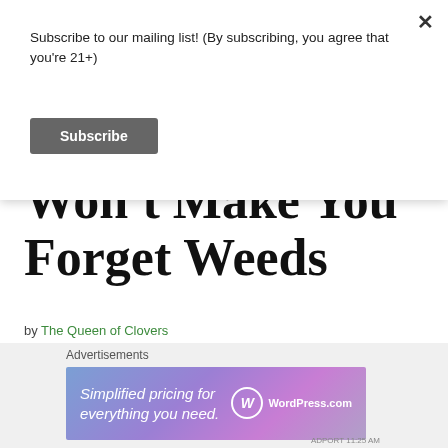Subscribe to our mailing list! (By subscribing, you agree that you're 21+)
Subscribe
Won't Make You Forget Weeds
by The Queen of Clovers
[Figure (photo): Close-up photograph of a cannabis bud with colorful blurred background in orange, purple, and pink tones]
Advertisements
[Figure (other): WordPress.com advertisement banner: Simplified pricing for everything you need.]